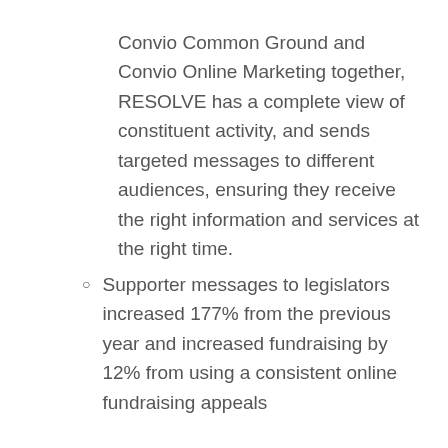Convio Common Ground and Convio Online Marketing together, RESOLVE has a complete view of constituent activity, and sends targeted messages to different audiences, ensuring they receive the right information and services at the right time.
Supporter messages to legislators increased 177% from the previous year and increased fundraising by 12% from using a consistent online fundraising appeals